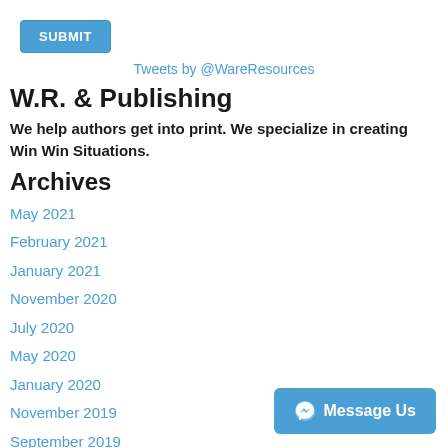SUBMIT
Tweets by @WareResources
W.R. & Publishing
We help authors get into print. We specialize in creating Win Win Situations.
Archives
May 2021
February 2021
January 2021
November 2020
July 2020
May 2020
January 2020
November 2019
September 2019
August 2019
July 2019
March 2019
Message Us